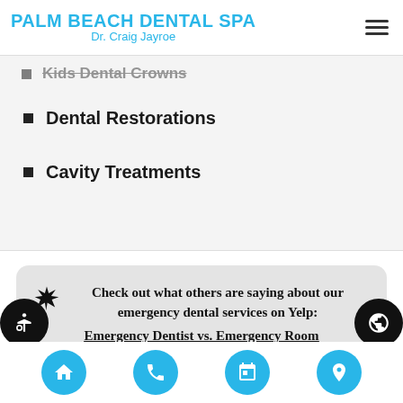PALM BEACH DENTAL SPA Dr. Craig Jayroe
Kids Dental Crowns
Dental Restorations
Cavity Treatments
Check out what others are saying about our emergency dental services on Yelp: Emergency Dentist vs. Emergency Room
Home | Phone | Calendar | Location